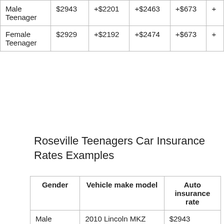|  | $2943 | +$2201 | +$2463 | +$673 | + |
| --- | --- | --- | --- | --- | --- |
| Male Teenager | $2943 | +$2201 | +$2463 | +$673 | + |
| Female Teenager | $2929 | +$2192 | +$2474 | +$673 | + |
Roseville Teenagers Car Insurance Rates Examples
| Gender | Vehicle make model | Auto insurance rate |
| --- | --- | --- |
| Male | 2010 Lincoln MKZ Base | $2943 |
| Female | 2011 GMC Sierra 1500 SLE | $2760 |